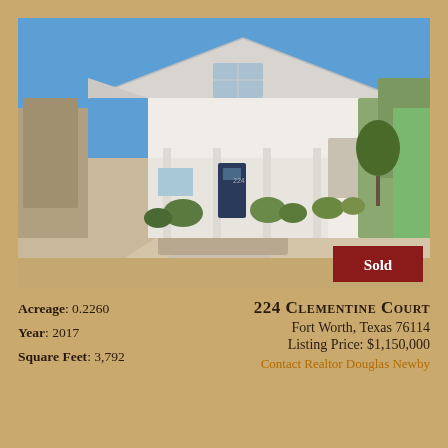[Figure (photo): Exterior photo of a modern white farmhouse-style home at 224 Clementine Court, Fort Worth, Texas. The home features a steep gabled roof with metal roofing, a covered front porch with columns, dark front door, and a curved concrete driveway with stone retaining walls. Clear blue sky in the background. A red 'Sold' badge is overlaid in the bottom-right corner of the photo.]
224 Clementine Court
Fort Worth, Texas 76114
Listing Price: $1,150,000
Contact Realtor Douglas Newby
Acreage: 0.2260
Year: 2017
Square Feet: 3,792